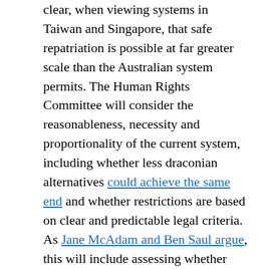clear, when viewing systems in Taiwan and Singapore, that safe repatriation is possible at far greater scale than the Australian system permits. The Human Rights Committee will consider the reasonableness, necessity and proportionality of the current system, including whether less draconian alternatives could achieve the same end and whether restrictions are based on clear and predictable legal criteria. As Jane McAdam and Ben Saul argue, this will include assessing whether Australia is allocating sufficient resources to maximise the number of returns.

Even within this avenue, stranded citizens face obstacles. Australia has a record of disregarding the United Nations' findings — particularly regarding its treatment of its First Nations and people seeking asylum. It may be years before a resolution is reached. But crucially the existence of a complaint refocuses